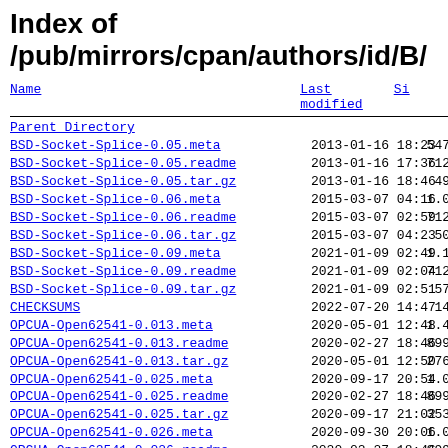Index of /pub/mirrors/cpan/authors/id/B/
| Name | Last modified | Si |
| --- | --- | --- |
| Parent Directory |  |  |
| BSD-Socket-Splice-0.05.meta | 2013-01-16 18:23 | 547 |
| BSD-Socket-Splice-0.05.readme | 2013-01-16 17:36 | 712 |
| BSD-Socket-Splice-0.05.tar.gz | 2013-01-16 18:46 | 49 |
| BSD-Socket-Splice-0.06.meta | 2015-03-07 04:16 | 1.0 |
| BSD-Socket-Splice-0.06.readme | 2015-03-07 02:59 | 712 |
| BSD-Socket-Splice-0.06.tar.gz | 2015-03-07 04:23 | 50 |
| BSD-Socket-Splice-0.09.meta | 2021-01-09 02:49 | 1.1 |
| BSD-Socket-Splice-0.09.readme | 2021-01-09 02:04 | 712 |
| BSD-Socket-Splice-0.09.tar.gz | 2021-01-09 02:51 | 57 |
| CHECKSUMS | 2022-07-20 14:47 | 14 |
| OPCUA-Open62541-0.013.meta | 2020-05-01 12:48 | 1.4 |
| OPCUA-Open62541-0.013.readme | 2020-02-27 18:46 | 899 |
| OPCUA-Open62541-0.013.tar.gz | 2020-05-01 12:50 | 276 |
| OPCUA-Open62541-0.025.meta | 2020-09-17 20:54 | 1.0 |
| OPCUA-Open62541-0.025.readme | 2020-02-27 18:46 | 899 |
| OPCUA-Open62541-0.025.tar.gz | 2020-09-17 21:02 | 353 |
| OPCUA-Open62541-0.026.meta | 2020-09-30 20:06 | 1.0 |
| OPCUA-Open62541-0.026.readme | 2020-02-27 18:46 | 899 |
| OPCUA-Open62541-0.026.tar.gz | 2020-09-30 20:41 | 353 |
| OPCUA-Open62541-0.029.meta | 2021-08-13 18:40 | 1.0 |